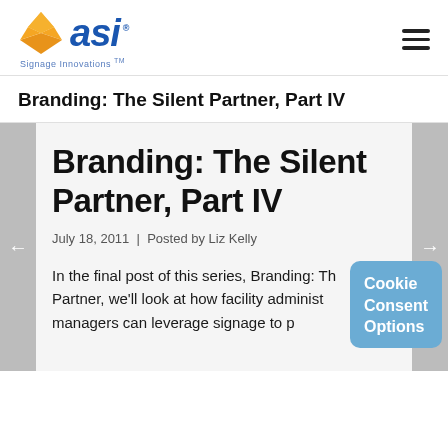ASI Signage Innovations
Branding: The Silent Partner, Part IV
Branding: The Silent Partner, Part IV
July 18, 2011  |  Posted by Liz Kelly
In the final post of this series, Branding: The Silent Partner, we'll look at how facility administrators and managers can leverage signage to pr…